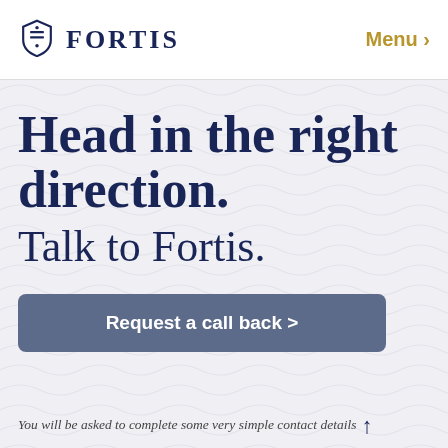FORTIS   Menu
Head in the right direction.
Talk to Fortis.
Request a call back >
You will be asked to complete some very simple contact details